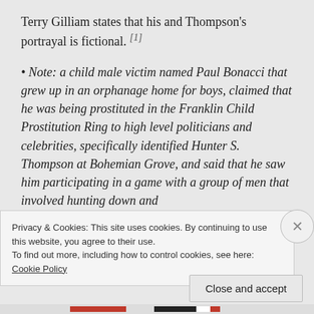Terry Gilliam states that his and Thompson's portrayal is fictional. [1]
• Note: a child male victim named Paul Bonacci that grew up in an orphanage home for boys, claimed that he was being prostituted in the Franklin Child Prostitution Ring to high level politicians and celebrities, specifically identified Hunter S. Thompson at Bohemian Grove, and said that he saw him participating in a game with a group of men that involved hunting down and
Privacy & Cookies: This site uses cookies. By continuing to use this website, you agree to their use.
To find out more, including how to control cookies, see here: Cookie Policy
Close and accept